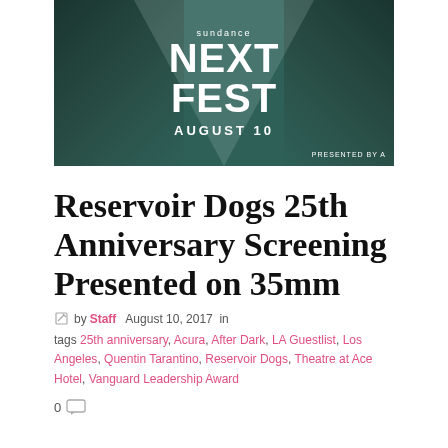[Figure (photo): Sundance NEXT FEST banner image with dark teal-toned photos of people on left and right sides, white text reading 'sundance NEXT FEST AUGUST 10 PRESENTED BY A', with a light beam triangle in the center]
Reservoir Dogs 25th Anniversary Screening Presented on 35mm
by Staff  August 10, 2017  in
tags 25th anniversary, Acura, After Dark, LA Guestlist, Los Angeles, Quentin Tarantino, Reservoir Dogs, Theatre at Ace Hotel, Vanguard Leadership Award
0